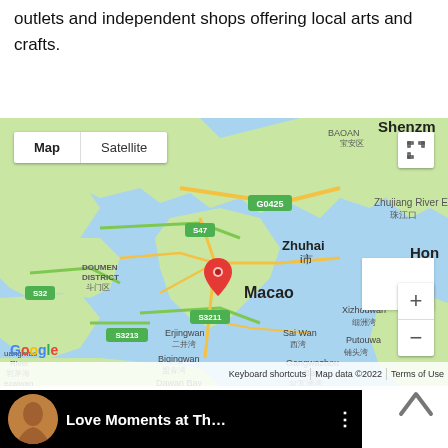outlets and independent shops offering local arts and crafts.
[Figure (map): Google Maps embed showing Macao/Zhuhai region with surrounding areas including Shenzhen (BAOAN), Zhujiang River Estuary, Doumen District, and surrounding waterways. Map controls include Map/Satellite toggle, fullscreen button, zoom in/out controls. Map data ©2022. Red location pin marking Macao.]
[Figure (screenshot): Partial bottom strip showing a video thumbnail with a circular avatar and partial text 'Love Moments at Th...' with menu dots icon on black background]